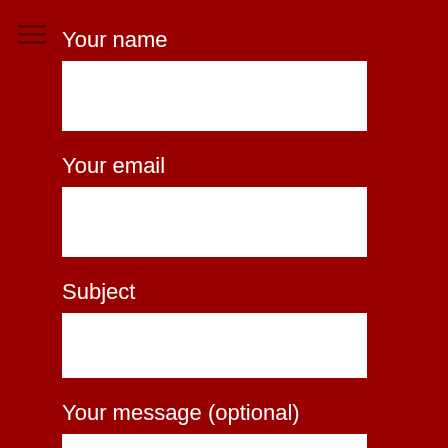Your name
Your email
Subject
Your message (optional)